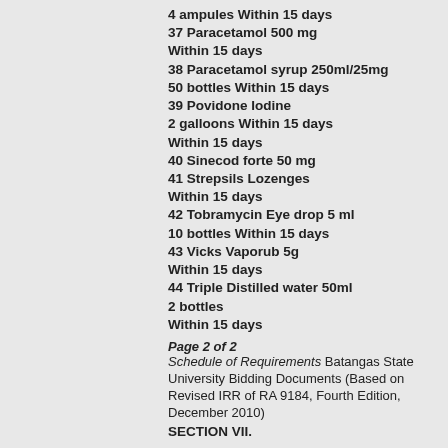4 ampules Within 15 days
37 Paracetamol 500 mg
Within 15 days
38 Paracetamol syrup 250ml/25mg
50 bottles Within 15 days
39 Povidone Iodine
2 galloons Within 15 days
Within 15 days
40 Sinecod forte 50 mg
41 Strepsils Lozenges
Within 15 days
42 Tobramycin Eye drop 5 ml
10 bottles Within 15 days
43 Vicks Vaporub 5g
Within 15 days
44 Triple Distilled water 50ml
2 bottles
Within 15 days
Page 2 of 2 Schedule of Requirements Batangas State University Bidding Documents (Based on Revised IRR of RA 9184, Fourth Edition, December 2010) SECTION VII.